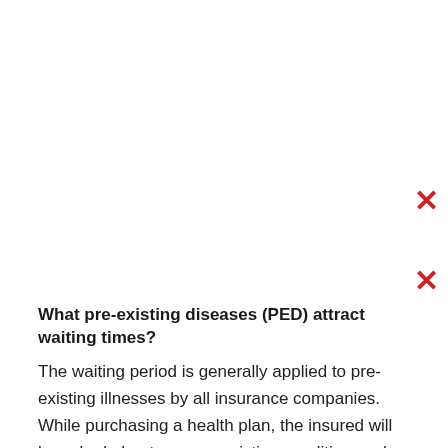[Figure (other): Red X mark symbol, partially visible on right edge of page]
[Figure (other): Red X mark symbol, partially visible on right edge of page]
What pre-existing diseases (PED) attract waiting times?
The waiting period is generally applied to pre-existing illnesses by all insurance companies. While purchasing a health plan, the insured will be asked about any pre-existing condition such as high blood pressure, diabetes, kidney disease or any other disease for which they are undergoing